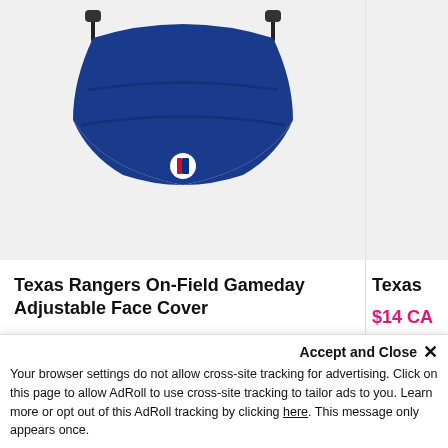[Figure (photo): Blue MLB Texas Rangers face mask/face cover displayed on white/light gray background, with adjustable ear clips visible at top and MLB logo on the front]
Texas Rangers On-Field Gameday Adjustable Face Cover
$7 CAD $20 CAD
Texas
$14 CA
Reviews
Accept and Close ✕
Your browser settings do not allow cross-site tracking for advertising. Click on this page to allow AdRoll to use cross-site tracking to tailor ads to you. Learn more or opt out of this AdRoll tracking by clicking here. This message only appears once.